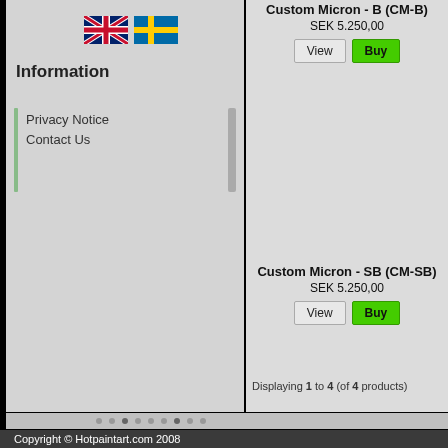[Figure (illustration): UK and Swedish flag icons side by side]
Information
Privacy Notice
Contact Us
Custom Micron - B (CM-B)
SEK 5.250,00
Custom Micron - SB (CM-SB)
SEK 5.250,00
Displaying 1 to 4 (of 4 products)
Copyright © Hotpaintart.com 2008